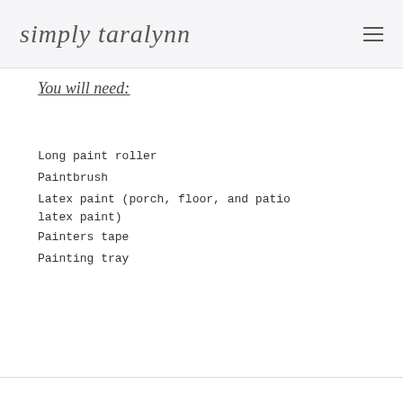simply taralynn
You will need:
Long paint roller
Paintbrush
Latex paint (porch, floor, and patio latex paint)
Painters tape
Painting tray